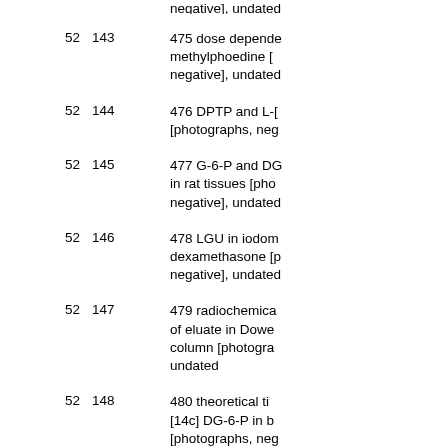| Box | Folder | Description |
| --- | --- | --- |
| 52 | 143 | 475 dose depende methylphoedine [negative], undated |
| 52 | 144 | 476 DPTP and L-[photographs, neg |
| 52 | 145 | 477 G-6-P and DG in rat tissues [pho negative], undated |
| 52 | 146 | 478 LGU in iodom dexamethasone [p negative], undated |
| 52 | 147 | 479 radiochemica of eluate in Dowe column [photogra undated |
| 52 | 148 | 480 theoretical ti [14c] DG-6-P in b [photographs, neg |
| 52 | 149 | 481 glucose-6-[3 arterial and cereb concentrations [p negative], undated |
| 52 | 150 | 482 [14c] G-6-... |